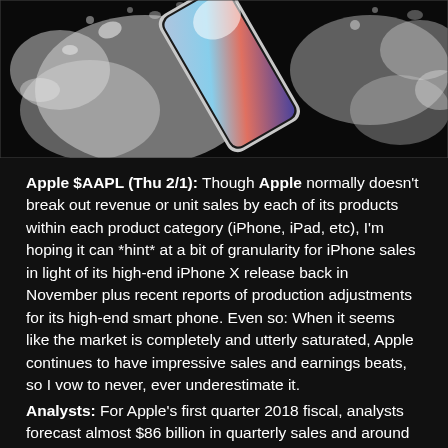[Figure (photo): iPhone X shown at an angle with water splashing around it against a black background]
Apple $AAPL (Thu 2/1): Though Apple normally doesn't break out revenue or unit sales by each of its products within each product category (iPhone, iPad, etc), I'm hoping it can *hint* at a bit of granularity for iPhone sales in light of its high-end iPhone X release back in November plus recent reports of production adjustments for its high-end smart phone. Even so: When it seems like the market is completely and utterly saturated, Apple continues to have impressive sales and earnings beats, so I vow to never, ever underestimate it.
Analysts: For Apple's first quarter 2018 fiscal, analysts forecast almost $86 billion in quarterly sales and around